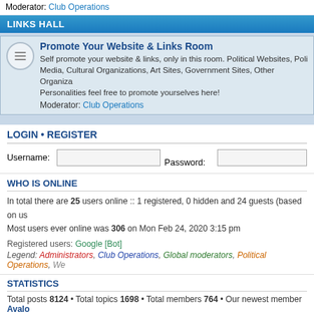Moderator: Club Operations
LINKS HALL
Promote Your Website & Links Room — Self promote your website & links, only in this room. Political Websites, Political Media, Cultural Organizations, Art Sites, Government Sites, Other Organizations, Personalities feel free to promote yourselves here! Moderator: Club Operations
LOGIN • REGISTER
Username: [input] Password: [input]
WHO IS ONLINE
In total there are 25 users online :: 1 registered, 0 hidden and 24 guests (based on users active over the past 5 minutes). Most users ever online was 306 on Mon Feb 24, 2020 3:15 pm
Registered users: Google [Bot]
Legend: Administrators, Club Operations, Global moderators, Political Operations, We...
STATISTICS
Total posts 8124 • Total topics 1698 • Total members 764 • Our newest member Avalo...
Board index
IPC operating since March 30, 2000